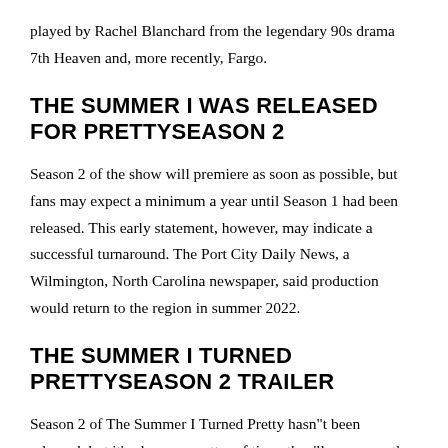played by Rachel Blanchard from the legendary 90s drama 7th Heaven and, more recently, Fargo.
THE SUMMER I WAS RELEASED FOR PRETTYSEASON 2
Season 2 of the show will premiere as soon as possible, but fans may expect a minimum a year until Season 1 had been released. This early statement, however, may indicate a successful turnaround. The Port City Daily News, a Wilmington, North Carolina newspaper, said production would return to the region in summer 2022.
THE SUMMER I TURNED PRETTYSEASON 2 TRAILER
Season 2 of The Summer I Turned Pretty hasn"t been released, but it's always a matter of time, they'll announce the